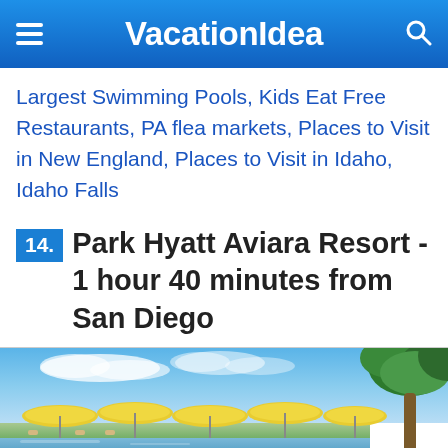VacationIdea
Largest Swimming Pools, Kids Eat Free Restaurants, PA flea markets, Places to Visit in New England, Places to Visit in Idaho, Idaho Falls
14. Park Hyatt Aviara Resort - 1 hour 40 minutes from San Diego
[Figure (photo): Outdoor pool area with yellow umbrellas, blue sky with clouds, and palm trees at Park Hyatt Aviara Resort]